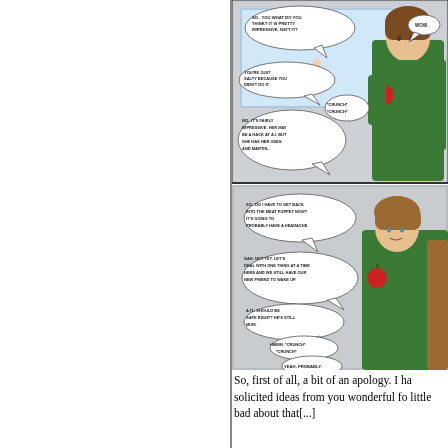[Figure (illustration): Webcomic strip with two panels. Top panel: A character in a green jacket holds a red apple and speaks to someone off-panel, with speech bubbles. One bubble reads 'SO.. YOU WHAT DO YOU THINK? IT IS PRETTY IMPRESSIVE, ISN'T IT?' and another 'WOW.' Another bubble: 'YOU'RE JUST SALTY BECAUSE YOU DIDN'T DO IT.' Response bubbles: '*CRUNCH* *CRUNCH*' and 'NO.. IT'S FAIRLY IMPRESSIVE. HER MAY BE A HACK AT A.I. BUT SHE HAS HER USES. AND MARTIN..'. Bottom panel: Same character continues conversation with speech bubbles: 'SO.. DO I HAVE TO GET BACK INTO THE MEAT PUPPET NOW? IT'S GOING TO PROBABLY HAVE A HEADACHE.' 'NAH, NOT YET. LET'S DEAL WITH ONE THING AT A TIME HERE AND WE STILL HAVE OUR NEW FRIEND TO WAKE UP.' 'A IT.. SHOULD BE SAFE RIGHT? HE'S STILL MUM.' 'HMMM. *CRUNCH* *CRUNCH*' 'YEAH, PROBABLY.']
So, first of all, a bit of an apology. I ha solicited ideas from you wonderful fo little bad about that[...]